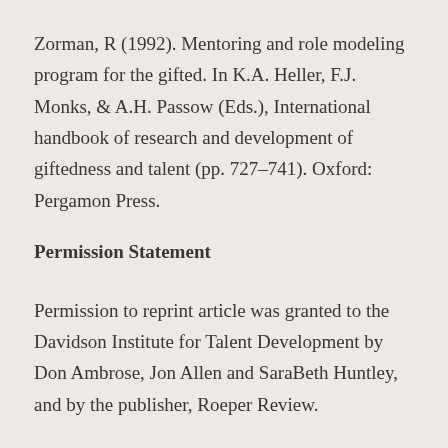Zorman, R (1992). Mentoring and role modeling program for the gifted. In K.A. Heller, F.J. Monks, & A.H. Passow (Eds.), International handbook of research and development of giftedness and talent (pp. 727-741). Oxford: Pergamon Press.
Permission Statement
Permission to reprint article was granted to the Davidson Institute for Talent Development by Don Ambrose, Jon Allen and SaraBeth Huntley, and by the publisher, Roeper Review.
This article is provided as a service of the Davidson